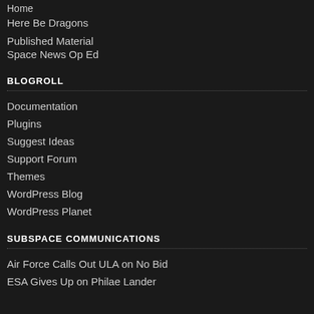Home
Here Be Dragons
Published Material
Space News Op Ed
BLOGROLL
Documentation
Plugins
Suggest Ideas
Support Forum
Themes
WordPress Blog
WordPress Planet
SUBSPACE COMMUNICATIONS
Air Force Calls Out ULA on No Bid
ESA Gives Up on Philae Lander